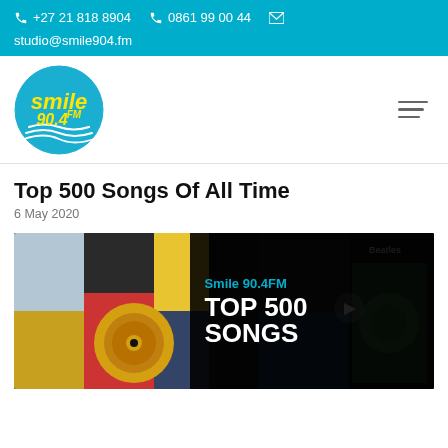+27 21 818 8904   0861 99 00 44   studio@smile904.fm
[Figure (logo): Smile 90.4FM circular logo with blue circle, yellow text 'smile' and '90.4FM' with wave lines]
Top 500 Songs Of All Time
6 May 2020
[Figure (photo): Feature image showing album covers collage with Smile 90.4FM TOP 500 SONGS overlay text on dark background]